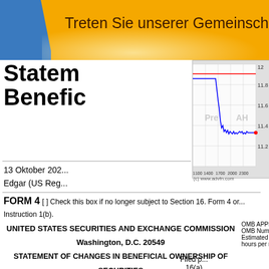Treten Sie unserer Gemeinsch
Statement of Changes in Beneficial Ownership
[Figure (continuous-plot): Intraday stock price chart showing pre-market and after-hours (AH) trading. Blue line shows price movement from approximately 11.8 down to 11.2 range. Red horizontal line near top. X-axis: 1100, 1400, 1700, 2000, 2300. Y-axis: 11.2 to 11.8+. Source: (c) www.advfn.com]
13 Oktober 202... Edgar (US Reg...
FORM 4 [ ] Check this box if no longer subject to Section 16. Form 4 or... Instruction 1(b).
UNITED STATES SECURITIES AND EXCHANGE COMMISSION
Washington, D.C. 20549
STATEMENT OF CHANGES IN BENEFICIAL OWNERSHIP OF SECURITIES
OMB APPR... OMB Num... Estimated... hours per r...
Filed p... 16(a) Exch...